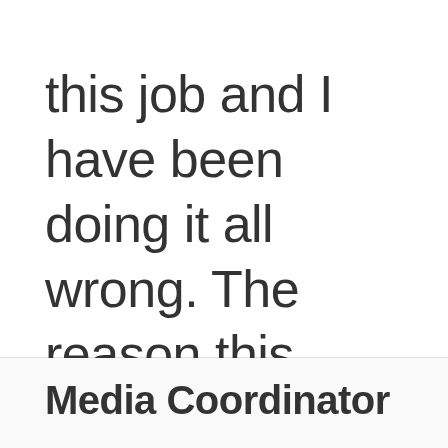this job and I have been doing it all wrong. The reason this report is so late,...
Media Coordinator